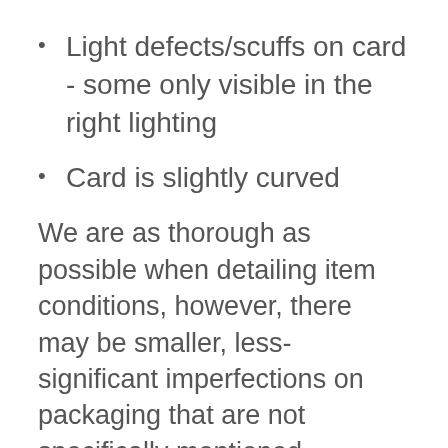Light defects/scuffs on card - some only visible in the right lighting
Card is slightly curved
We are as thorough as possible when detailing item conditions, however, there may be smaller, less-significant imperfections on packaging that are not specifically mentioned.
Don't be tricked by amateur sellers listing these products when they know nothing about the actual items themselves, listing for mint when the